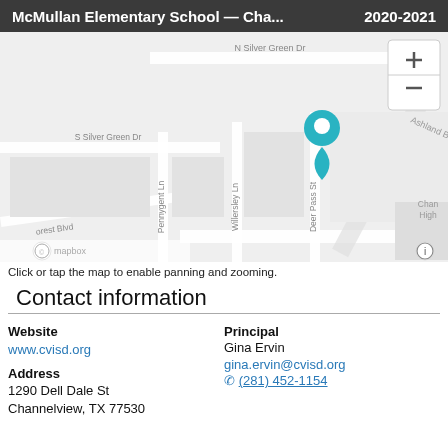McMullan Elementary School — Cha... 2020-2021
[Figure (map): Street map showing location of McMullan Elementary School near intersection of Deer Pass St and S Silver Green Dr, with streets including N Silver Green Dr, Pennygent Ln, Willersley Ln, Ashland Blvd, Woodforest Blvd, and Forest Blvd. A teal map pin marks the school location. Map provided by Mapbox.]
Click or tap the map to enable panning and zooming.
Contact information
Website
www.cvisd.org
Address
1290 Dell Dale St
Channelview, TX 77530
Principal
Gina Ervin
gina.ervin@cvisd.org
(281) 452-1154